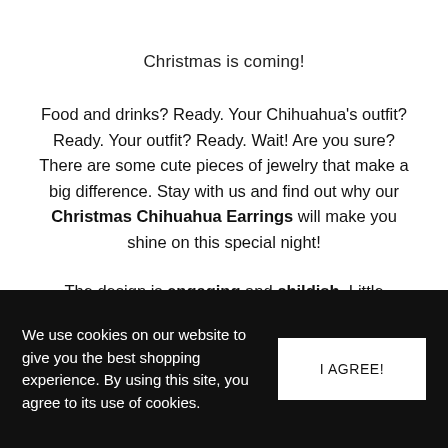Christmas is coming!
Food and drinks? Ready. Your Chihuahua's outfit? Ready. Your outfit? Ready. Wait! Are you sure? There are some cute pieces of jewelry that make a big difference. Stay with us and find out why our Christmas Chihuahua Earrings will make you shine on this special night!
The design is engaging and childish. Little Chihuahua figures, with small Santa Claus hats and hearts on the
We use cookies on our website to give you the best shopping experience. By using this site, you agree to its use of cookies.
I AGREE!